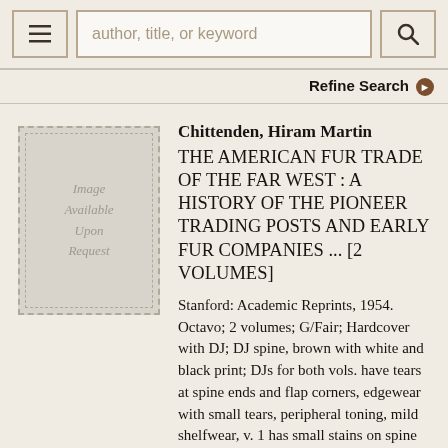author, title, or keyword
Refine Search
[Figure (illustration): Book image placeholder reading 'Image Available Upon Request' with dashed border on grey background]
Chittenden, Hiram Martin
THE AMERICAN FUR TRADE OF THE FAR WEST : A HISTORY OF THE PIONEER TRADING POSTS AND EARLY FUR COMPANIES ... [2 VOLUMES]
Stanford: Academic Reprints, 1954. Octavo; 2 volumes; G/Fair; Hardcover with DJ; DJ spine, brown with white and black print; DJs for both vols. have tears at spine ends and flap corners, edgewear with small tears, peripheral toning, mild shelfwear, v. 1 has small stains on spine and rear and penciled numbers on front; Boards in purple cloth with gold print, both vols. have light wear to corners and spine caps,